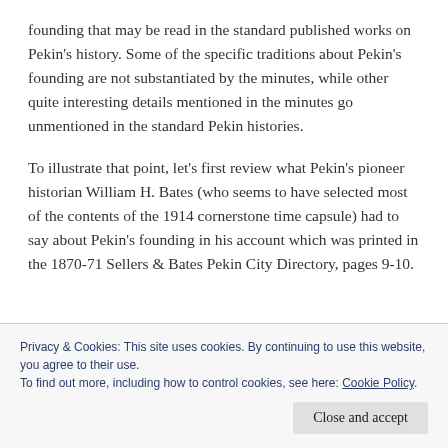founding that may be read in the standard published works on Pekin's history. Some of the specific traditions about Pekin's founding are not substantiated by the minutes, while other quite interesting details mentioned in the minutes go unmentioned in the standard Pekin histories.
To illustrate that point, let's first review what Pekin's pioneer historian William H. Bates (who seems to have selected most of the contents of the 1914 cornerstone time capsule) had to say about Pekin's founding in his account which was printed in the 1870-71 Sellers & Bates Pekin City Directory, pages 9-10.
Privacy & Cookies: This site uses cookies. By continuing to use this website, you agree to their use.
To find out more, including how to control cookies, see here: Cookie Policy